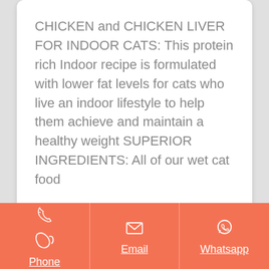CHICKEN and CHICKEN LIVER FOR INDOOR CATS: This protein rich Indoor recipe is formulated with lower fat levels for cats who live an indoor lifestyle to help them achieve and maintain a healthy weight SUPERIOR INGREDIENTS: All of our wet cat food
[Figure (other): Orange rounded button labeled 'Get Price']
[Figure (infographic): Footer bar with three contact options: Phone (phone icon), Email (envelope icon), Whatsapp (whatsapp icon), each underlined in white on orange background]